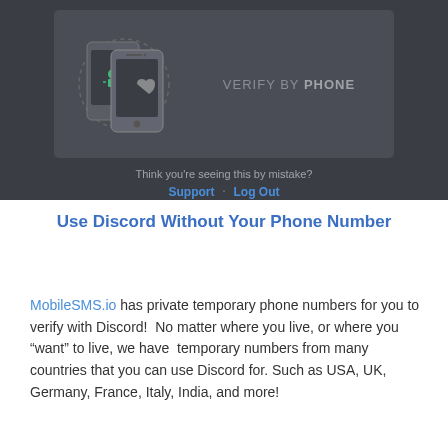[Figure (screenshot): Discord 'Verify By Phone' screen showing two smartphones (Android and iOS) with the text 'VERIFY BY PHONE', and below: 'Think you're seeing this by mistake?' with 'Support' and 'Log Out' links.]
Use Discord Without Your Phone Number
MobileSMS.io has private temporary phone numbers for you to verify with Discord!  No matter where you live, or where you "want" to live, we have  temporary numbers from many countries that you can use Discord for. Such as USA, UK, Germany, France, Italy, India, and more!